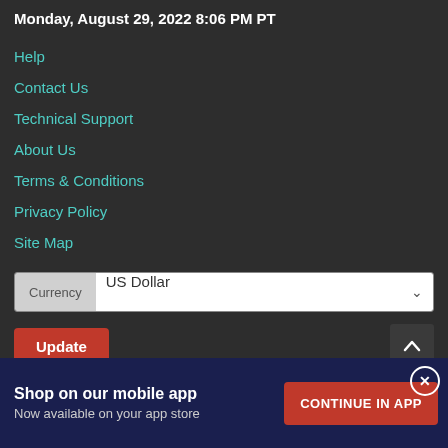Monday, August 29, 2022 8:06 PM PT
Help
Contact Us
Technical Support
About Us
Terms & Conditions
Privacy Policy
Site Map
Currency  US Dollar
Update
Shop on our mobile app
Now available on your app store
CONTINUE IN APP